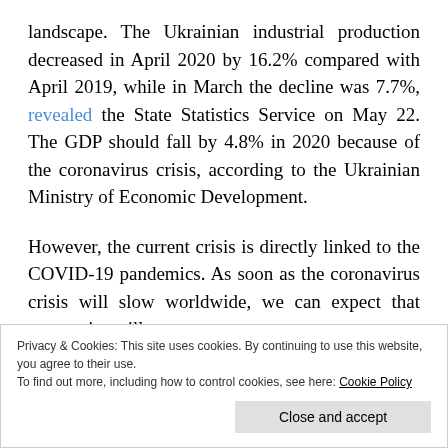landscape. The Ukrainian industrial production decreased in April 2020 by 16.2% compared with April 2019, while in March the decline was 7.7%, revealed the State Statistics Service on May 22. The GDP should fall by 4.8% in 2020 because of the coronavirus crisis, according to the Ukrainian Ministry of Economic Development.
However, the current crisis is directly linked to the COVID-19 pandemics. As soon as the coronavirus crisis will slow worldwide, we can expect that economies will progressively recover to their growing paths. Ukraine
Privacy & Cookies: This site uses cookies. By continuing to use this website, you agree to their use.
To find out more, including how to control cookies, see here: Cookie Policy
Close and accept